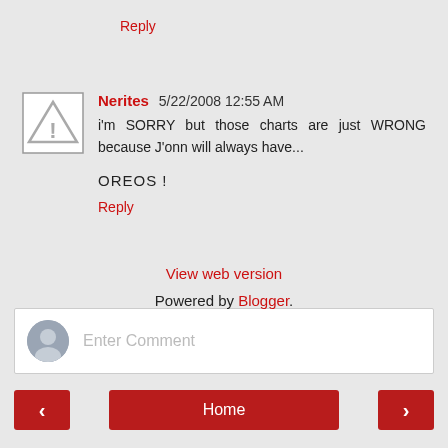Reply
Nerites 5/22/2008 12:55 AM
i'm SORRY but those charts are just WRONG because J'onn will always have...

OREOS !

Reply
[Figure (illustration): Generic avatar/warning icon placeholder for blog commenter]
Enter Comment
Home
View web version
Powered by Blogger.